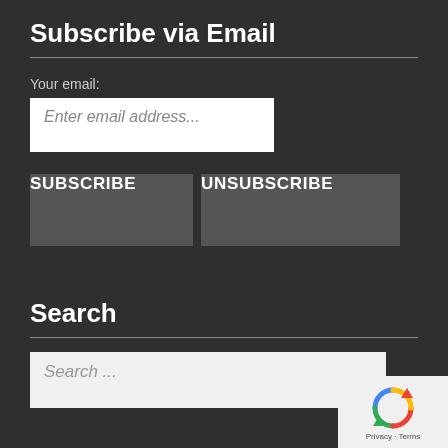Subscribe via Email
Your email:
Enter email address...
SUBSCRIBE
UNSUBSCRIBE
Search
Search ...
[Figure (logo): reCAPTCHA badge with spinning arrows icon and Privacy - Terms text]